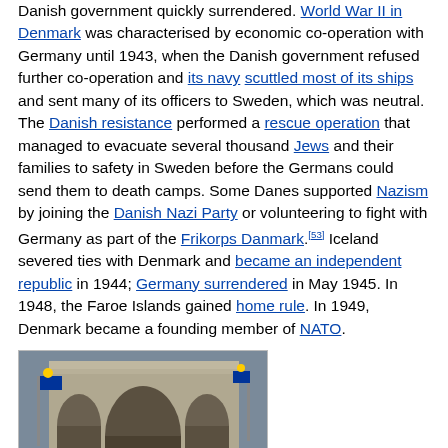Danish government quickly surrendered. World War II in Denmark was characterised by economic co-operation with Germany until 1943, when the Danish government refused further co-operation and its navy scuttled most of its ships and sent many of its officers to Sweden, which was neutral. The Danish resistance performed a rescue operation that managed to evacuate several thousand Jews and their families to safety in Sweden before the Germans could send them to death camps. Some Danes supported Nazism by joining the Danish Nazi Party or volunteering to fight with Germany as part of the Frikorps Danmark.[53] Iceland severed ties with Denmark and became an independent republic in 1944; Germany surrendered in May 1945. In 1948, the Faroe Islands gained home rule. In 1949, Denmark became a founding member of NATO.
[Figure (photo): A group photo of many people standing in front of a large Gothic cathedral entrance with arched doorways and decorative stonework. EU flags are visible on either side. A banner reading 'Lisbon' is visible at the front.]
Denmark became a member of the European Union in 1973 and signed the Lisbon Treaty in 2007.